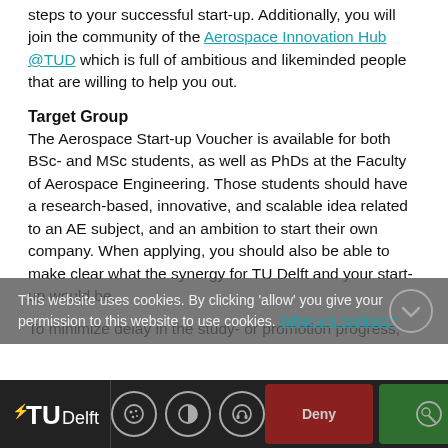steps to your successful start-up. Additionally, you will join the community of the Aerospace Innovation Hub @TUD which is full of ambitious and likeminded people that are willing to help you out.
Target Group
The Aerospace Start-up Voucher is available for both BSc- and MSc students, as well as PhDs at the Faculty of Aerospace Engineering. Those students should have a research-based, innovative, and scalable idea related to an AE subject, and an ambition to start their own company. When applying, you should also be able to make clear what the synergy for TU Delft and your start-up would be.
To minimize delay in the study- or promotion progress,
This website uses cookies. By clicking 'allow' you give your permission to this website to use cookies. What are cookies?
[Figure (logo): TU Delft logo and cookie consent bar with Deny and Accept buttons]